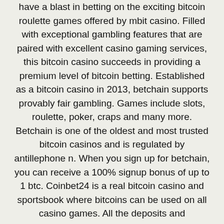have a blast in betting on the exciting bitcoin roulette games offered by mbit casino. Filled with exceptional gambling features that are paired with excellent casino gaming services, this bitcoin casino succeeds in providing a premium level of bitcoin betting. Established as a bitcoin casino in 2013, betchain supports provably fair gambling. Games include slots, roulette, poker, craps and many more. Betchain is one of the oldest and most trusted bitcoin casinos and is regulated by antillephone n. When you sign up for betchain, you can receive a 100% signup bonus of up to 1 btc. Coinbet24 is a real bitcoin casino and sportsbook where bitcoins can be used on all casino games. All the deposits and withdrawals can be handled with bitcoin. Additionally, any transaction that's available in a certain game can be done in bitcoin. All the games offered at the coinbet24 casino are from the best game developers. Once all of this was implemented, bitcoin gambling was born. It changed the whole industry within months. Now, there are loads of bookies and online casinos that allow the